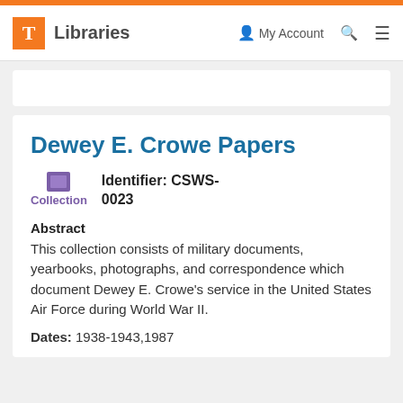T Libraries | My Account | Search | Menu
Dewey E. Crowe Papers
Collection   Identifier: CSWS-0023
Abstract
This collection consists of military documents, yearbooks, photographs, and correspondence which document Dewey E. Crowe’s service in the United States Air Force during World War II.
Dates: 1938-1943,1987